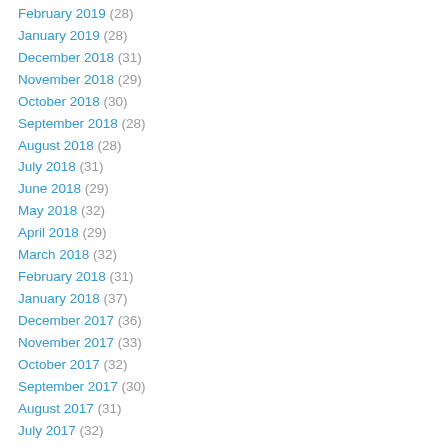February 2019 (28)
January 2019 (28)
December 2018 (31)
November 2018 (29)
October 2018 (30)
September 2018 (28)
August 2018 (28)
July 2018 (31)
June 2018 (29)
May 2018 (32)
April 2018 (29)
March 2018 (32)
February 2018 (31)
January 2018 (37)
December 2017 (36)
November 2017 (33)
October 2017 (32)
September 2017 (30)
August 2017 (31)
July 2017 (32)